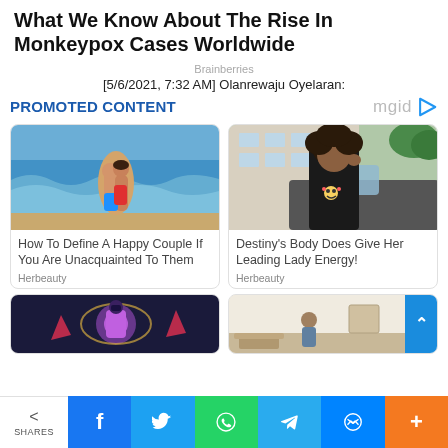What We Know About The Rise In Monkeypox Cases Worldwide
Brainberries
[5/6/2021, 7:32 AM] Olanrewaju Oyelaran:
PROMOTED CONTENT
[Figure (photo): Couple kissing on beach with waves - card titled How To Define A Happy Couple If You Are Unacquainted To Them by Herbeauty]
[Figure (photo): Young woman in black top posing by car - card titled Destiny's Body Does Give Her Leading Lady Energy! by Herbeauty]
[Figure (photo): Marvel/superhero movie still - bottom left card (partially visible)]
[Figure (photo): Interior room photo - bottom right card (partially visible)]
SHARES | Facebook | Twitter | WhatsApp | Telegram | Messenger | More